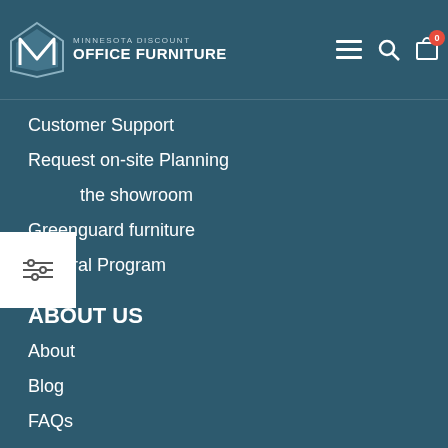Minnesota Discount Office Furniture
Customer Support
Request on-site Planning
the showroom
Greenguard furniture
Referral Program
ABOUT US
About
Blog
FAQs
Shipping Policy
Returns Policy
Privacy Policy
Terms of Service
Careers